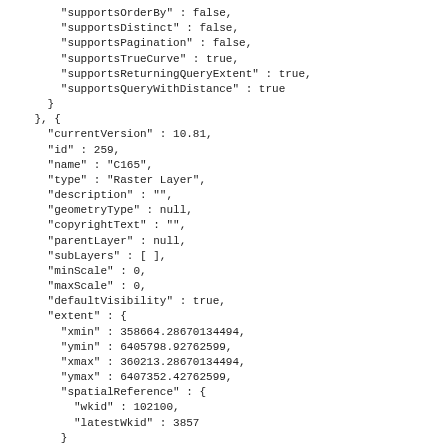"supportsOrderBy" : false,
    "supportsDistinct" : false,
    "supportsPagination" : false,
    "supportsTrueCurve" : true,
    "supportsReturningQueryExtent" : true,
    "supportsQueryWithDistance" : true
  }
}, {
  "currentVersion" : 10.81,
  "id" : 259,
  "name" : "C165",
  "type" : "Raster Layer",
  "description" : "",
  "geometryType" : null,
  "copyrightText" : "",
  "parentLayer" : null,
  "subLayers" : [ ],
  "minScale" : 0,
  "maxScale" : 0,
  "defaultVisibility" : true,
  "extent" : {
    "xmin" : 358664.28670134494,
    "ymin" : 6405798.92762599,
    "xmax" : 360213.28670134494,
    "ymax" : 6407352.42762599,
    "spatialReference" : {
      "wkid" : 102100,
      "latestWkid" : 3857
    }
  },
  "hasAttachments" : false,
  "htmlPopupType" : "esriServerHTMLPopupTypeNone",
  "displayField" : "",
  "typeIdField" : null,
  "fields" : null,
  "relationships" : [ ],
  "canModifyLayer" : false,
  "canScaleSymbols" : false,